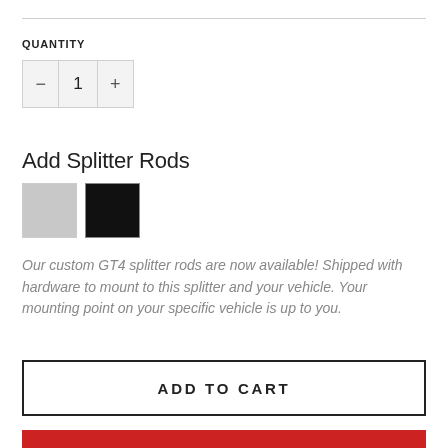QUANTITY
1
Add Splitter Rods
Our custom GT4 splitter rods are now available! Shipped with hardware to mount to this splitter and your vehicle. Your mounting point on your specific vehicle is up to you.
ADD TO CART
SUBSCRIBE NOW!